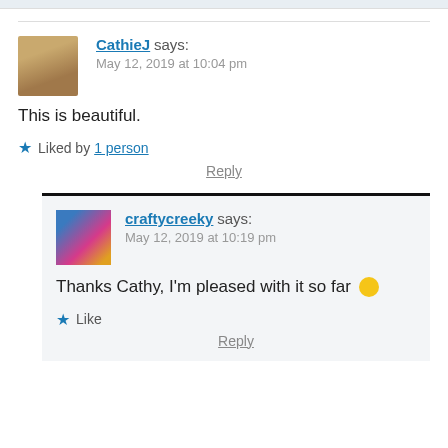CathieJ says:
May 12, 2019 at 10:04 pm
This is beautiful.
★ Liked by 1 person
Reply
craftycreeky says:
May 12, 2019 at 10:19 pm
Thanks Cathy, I'm pleased with it so far 😊
★ Like
Reply